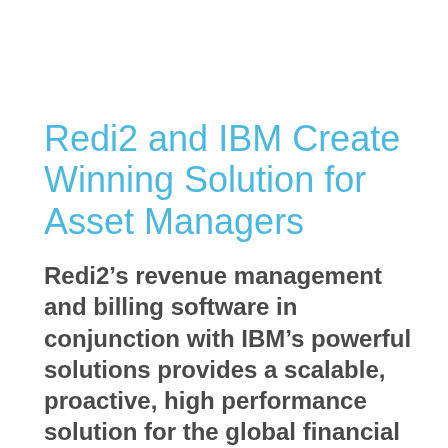Redi2 and IBM Create Winning Solution for Asset Managers
Redi2’s revenue management and billing software in conjunction with IBM’s powerful solutions provides a scalable, proactive, high performance solution for the global financial services industry.